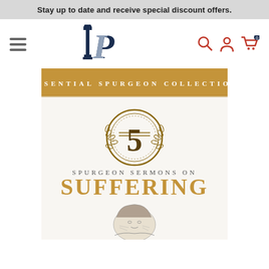Stay up to date and receive special discount offers.
[Figure (logo): Publisher logo: stylized P with pillars in dark blue/navy, letters P and I combined]
[Figure (screenshot): Website navigation bar with hamburger menu, publisher logo, and icons for search, account, and cart (0 items) in red]
[Figure (illustration): Book cover: Essential Spurgeon Collection - 5 Spurgeon Sermons on Suffering, with ornamental number 5 medallion and engraved portrait of Spurgeon at bottom. Gold banner at top reads ESSENTIAL SPURGEON COLLECTION.]